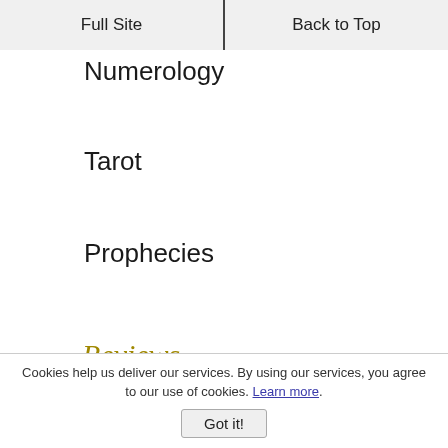Full Site | Back to Top
Numerology
Tarot
Prophecies
Reviews
Lotus Tarot
Own Your Own Site
Miscellaneous
Cookies help us deliver our services. By using our services, you agree to our use of cookies. Learn more.
Got it!